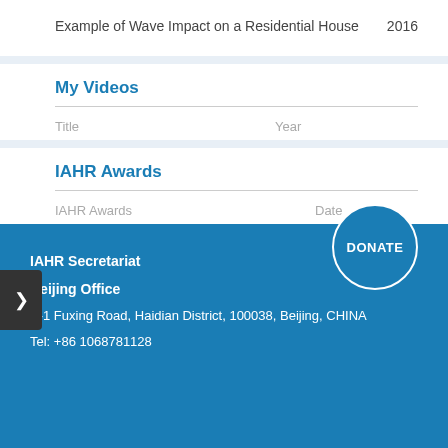Example of Wave Impact on a Residential House    2016
My Videos
| Title | Year |
| --- | --- |
IAHR Awards
| IAHR Awards | Date |
| --- | --- |
IAHR Secretariat
Beijing Office
A-1 Fuxing Road, Haidian District, 100038, Beijing, CHINA
Tel: +86 1068781128